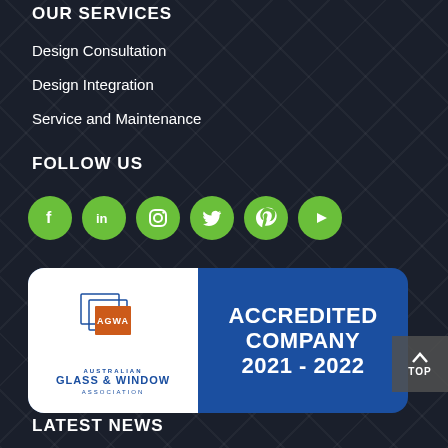OUR SERVICES
Design Consultation
Design Integration
Service and Maintenance
FOLLOW US
[Figure (infographic): Row of 6 green circular social media icons: Facebook, LinkedIn, Instagram, Twitter, Pinterest, YouTube/Play]
[Figure (logo): Australian Glass & Window Association Accredited Company 2021-2022 badge. Left side white with AGWA logo, right side blue with text ACCREDITED COMPANY 2021 - 2022]
LATEST NEWS